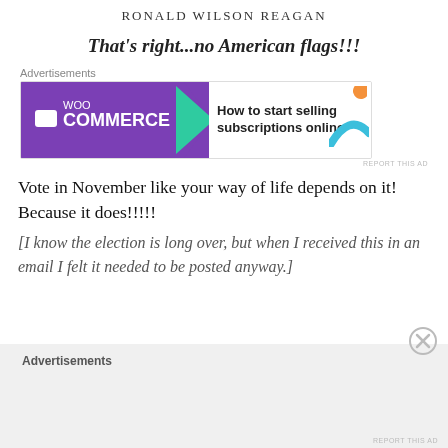RONALD WILSON REAGAN
That's right...no American flags!!!
[Figure (screenshot): WooCommerce advertisement banner: purple left panel with WooCommerce logo and white speech bubble icon, green arrow shape pointing right, white right panel with text 'How to start selling subscriptions online' and orange/teal decorative shapes. Small 'REPORT THIS AD' text at bottom right.]
Vote in November like your way of life depends on it! Because it does!!!!!
[I know the election is long over, but when I received this in an email I felt it needed to be posted anyway.]
[Figure (other): Advertisements section with gray background at bottom of page. Close/X button circle icon at top right.]